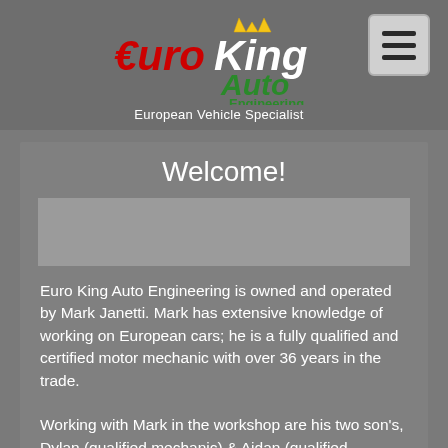[Figure (logo): Euro King Auto Engineering logo with crown, red Euro text, white King text, green Auto text, and Engineering text below]
European Vehicle Specialist
Welcome!
[Figure (photo): Placeholder image area (grey rectangle)]
Euro King Auto Engineering is owned and operated by Mark Janetti. Mark has extensive knowledge of working on European cars; he is a fully qualified and certified motor mechanic with over 36 years in the trade.
Working with Mark in the workshop are his two son's, Dylan (qualified mechanic) & Aidan (qualified